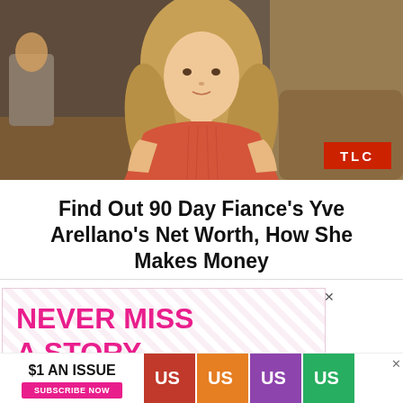[Figure (photo): Woman with long blonde hair wearing an orange/red sleeveless shirt, seated in a room. TLC network logo appears in the bottom right corner of the image.]
Find Out 90 Day Fiance’s Yve Arellano’s Net Worth, How She Makes Money
[Figure (infographic): Advertisement: 'NEVER MISS A STORY' promotional ad for US Weekly magazine with diagonal stripe background, showing multiple magazine covers and the text '$1 AN ISSUE / SUBSCRIBE NOW' at the bottom.]